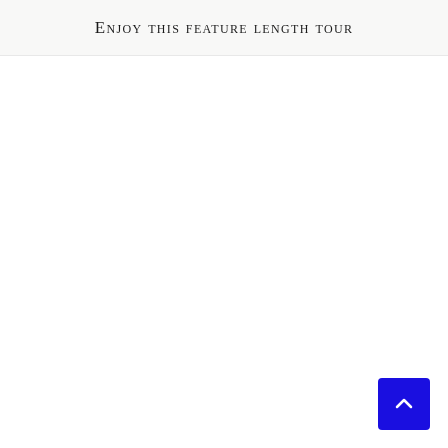Enjoy this feature length tour
[Figure (other): Blue scroll-to-top button with white chevron arrow in bottom-right corner]